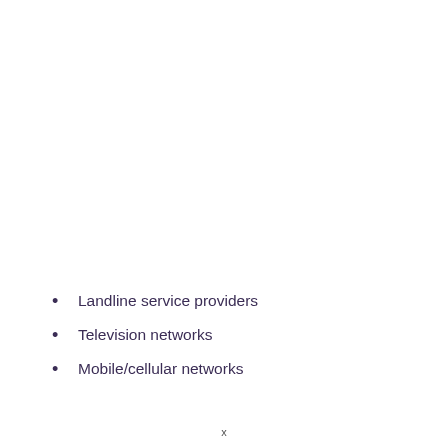Landline service providers
Television networks
Mobile/cellular networks
x